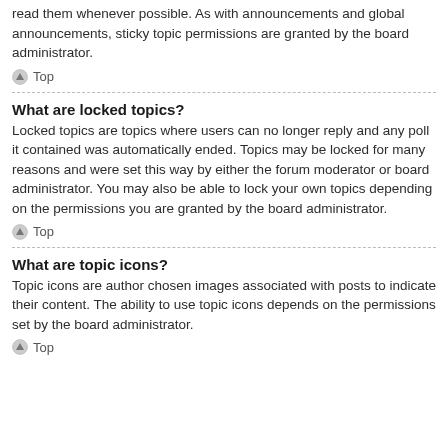read them whenever possible. As with announcements and global announcements, sticky topic permissions are granted by the board administrator.
Top
What are locked topics?
Locked topics are topics where users can no longer reply and any poll it contained was automatically ended. Topics may be locked for many reasons and were set this way by either the forum moderator or board administrator. You may also be able to lock your own topics depending on the permissions you are granted by the board administrator.
Top
What are topic icons?
Topic icons are author chosen images associated with posts to indicate their content. The ability to use topic icons depends on the permissions set by the board administrator.
Top